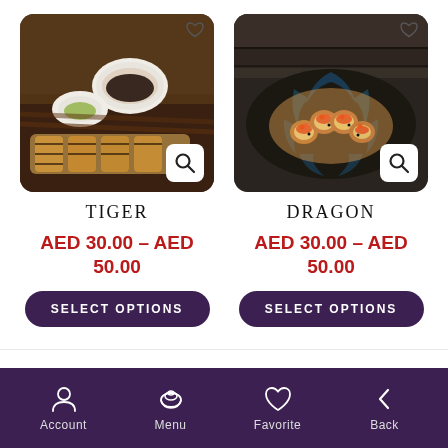[Figure (photo): Sushi rolls with soy sauce and wasabi on a dark plate (Tiger product image)]
TIGER
AED 30.00 – AED 50.00
SELECT OPTIONS
[Figure (photo): Dragon sushi rolls arranged in a circle on dark background (Dragon product image)]
DRAGON
AED 30.00 – AED 50.00
SELECT OPTIONS
Account  Menu  Favorite  Back